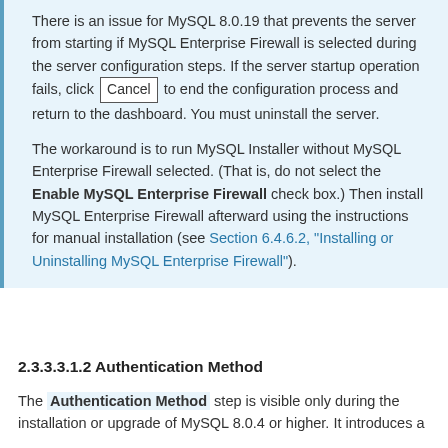There is an issue for MySQL 8.0.19 that prevents the server from starting if MySQL Enterprise Firewall is selected during the server configuration steps. If the server startup operation fails, click Cancel to end the configuration process and return to the dashboard. You must uninstall the server.

The workaround is to run MySQL Installer without MySQL Enterprise Firewall selected. (That is, do not select the Enable MySQL Enterprise Firewall check box.) Then install MySQL Enterprise Firewall afterward using the instructions for manual installation (see Section 6.4.6.2, "Installing or Uninstalling MySQL Enterprise Firewall").
2.3.3.3.1.2 Authentication Method
The Authentication Method step is visible only during the installation or upgrade of MySQL 8.0.4 or higher. It introduces a